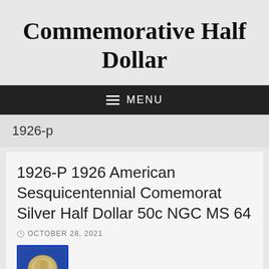Commemorative Half Dollar
MENU
1926-p
1926-P 1926 American Sesquicentennial Comemorat Silver Half Dollar 50c NGC MS 64
OCTOBER 28, 2021
[Figure (photo): Image of a 1926-P American Sesquicentennial commemorative silver half dollar coin in an NGC slab with blue background]